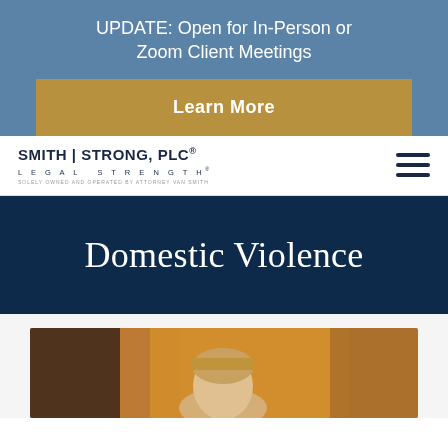UPDATE: Open for In-Person or Zoom Client Meetings
Learn More
[Figure (logo): Smith | Strong, PLC — Legal Strength — Solely owned and operated by Attorney Van Smith]
Domestic Violence
[Figure (photo): Photo of attorney in office setting with orange/warm background]